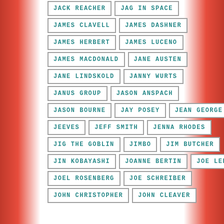JACK REACHER
JAG IN SPACE
JAMES CLAVELL
JAMES DASHNER
JAMES HERBERT
JAMES LUCENO
JAMES MACDONALD
JANE AUSTEN
JANE LINDSKOLD
JANNY WURTS
JANUS GROUP
JASON ANSPACH
JASON BOURNE
JAY POSEY
JEAN GEORGE
JEEVES
JEFF SMITH
JENNA RHODES
JIG THE GOBLIN
JIMBO
JIM BUTCHER
JIN KOBAYASHI
JOANNE BERTIN
JOE LEDGER
JOEL ROSENBERG
JOE SCHREIBER
JOHN CHRISTOPHER
JOHN CLEAVER